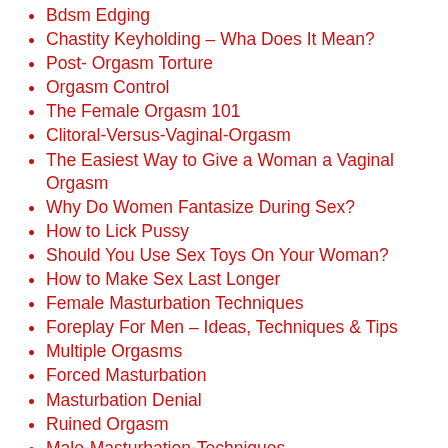Bdsm Edging
Chastity Keyholding – Wha Does It Mean?
Post- Orgasm Torture
Orgasm Control
The Female Orgasm 101
Clitoral-Versus-Vaginal-Orgasm
The Easiest Way to Give a Woman a Vaginal Orgasm
Why Do Women Fantasize During Sex?
How to Lick Pussy
Should You Use Sex Toys On Your Woman?
How to Make Sex Last Longer
Female Masturbation Techniques
Foreplay For Men – Ideas, Techniques & Tips
Multiple Orgasms
Forced Masturbation
Masturbation Denial
Ruined Orgasm
Male-Masturbation-Techniques
No Hands Ejaculation